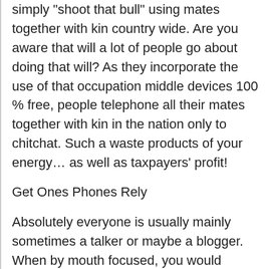simply "shoot that bull" using mates together with kin country wide. Are you aware that will a lot of people go about doing that will? As they incorporate the use of that occupation middle devices 100 % free, people telephone all their mates together with kin in the nation only to chitchat. Such a waste products of your energy… as well as taxpayers' profit!
Get Ones Phones Rely
Absolutely everyone is usually mainly sometimes a talker or maybe a blogger. When by mouth focused, you would probably very likely ought to multi-level face-to-face physically and just by telephone rather then just by e-mail. Producing message or calls is usually superior, nevertheless simply producing message or calls with regard to producing message or calls is not really superior. Cold-calling can be a waste products of your energy. Should consentrate on producing phones to your correct most people inside